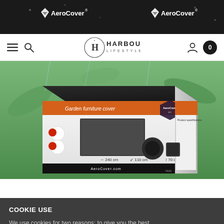[Figure (photo): AeroCover branded dark packaging box banner with logo text and diamond symbols on dark background]
[Figure (logo): Harbour Lifestyle navigation bar with hamburger menu, search icon, circular H logo with anchor, user icon and cart with 0 items]
[Figure (photo): AeroCover outdoor furniture cover product packaging box showing a dark grey rectangular table cover with dimensions 240cm x 110cm x 70cm in a box with orange and black design]
COOKIE USE
We use cookies for two reasons: to give you the best experience on Harbour Lifestyle, and to make sure the